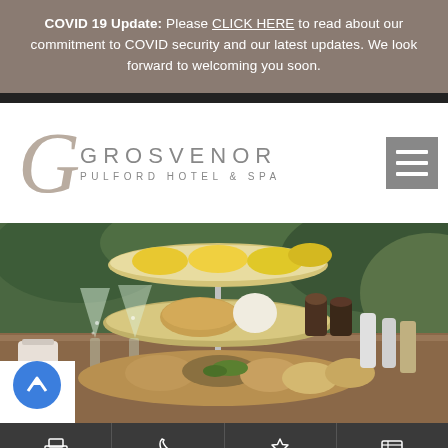COVID 19 Update: Please CLICK HERE to read about our commitment to COVID security and our latest updates. We look forward to welcoming you soon.
[Figure (logo): Grosvenor Pulford Hotel & Spa logo with decorative italic G and text]
[Figure (photo): Afternoon tea spread with tiered cake stand holding scones and pastries, champagne flutes, iced coffee drinks, and condiments on a table]
BOOK ROOM   CALL US   SPECIALS   VOUCHERS